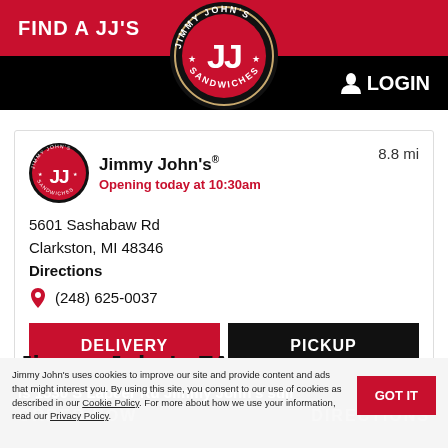FIND A JJ'S   LOGIN
[Figure (logo): Jimmy John's circular logo with JJ letters in red on black background with stars]
Jimmy John's®   8.8 mi
Opening today at 10:30am
5601 Sashabaw Rd
Clarkston, MI 48346
Directions
☎ (248) 625-0037
DELIVERY   PICKUP
Jimmy John's FAQ
Is 1530 S Lapeer Rd Jimmy John's still
ORDER NOW   DIRECTIONS
Jimmy John's uses cookies to improve our site and provide content and ads that might interest you. By using this site, you consent to our use of cookies as described in our Cookie Policy. For more about how we use your information, read our Privacy Policy.
GOT IT